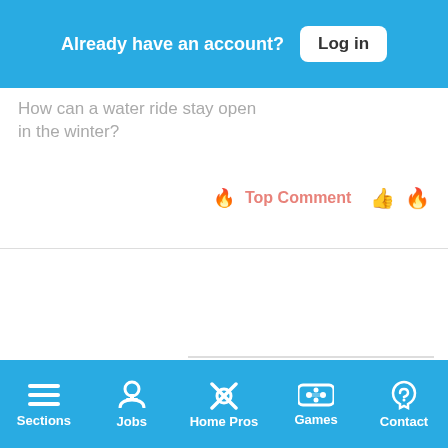Already have an account? Log in
How can a water ride stay open in the winter?
Top Comment
[Figure (screenshot): Advertisement box with text 'Until there’s a vaccine for trolls, there’s us.' and subtext 'It’s time to save online conversation.' with a 'Learn more' button]
Sections  Jobs  Home Pros  Games  Contact